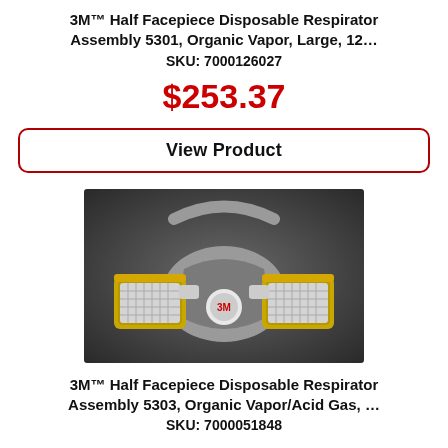3M™ Half Facepiece Disposable Respirator Assembly 5301, Organic Vapor, Large, 12…
SKU: 7000126027
$253.37
View Product
[Figure (photo): 3M Half Facepiece Disposable Respirator with yellow organic vapor filters on a dark background]
3M™ Half Facepiece Disposable Respirator Assembly 5303, Organic Vapor/Acid Gas, …
SKU: 7000051848